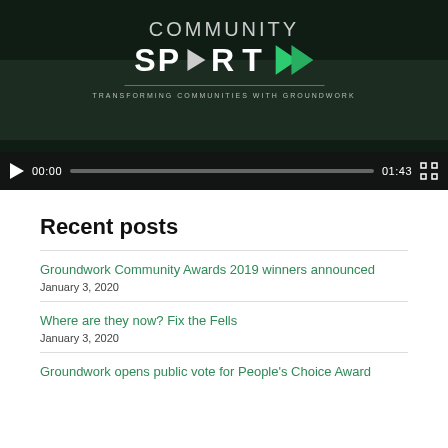[Figure (screenshot): Video player showing 'Community Spirit - Transforming Communities with Groundwork' with play button, progress bar showing 00:00 / 01:43, and fullscreen button]
Recent posts
Groundwork Community Awards 2019 winners announced
January 3, 2020
Where are they now? Fix the Fells
January 3, 2020
Groundwork opens public vote for People's Choice Award